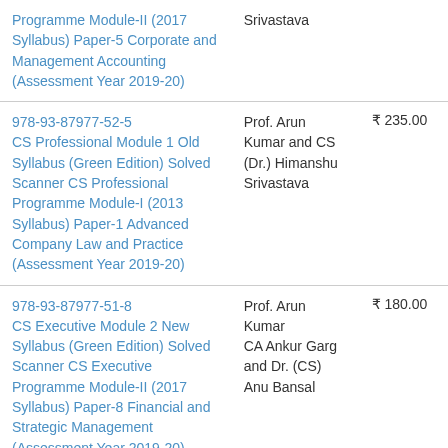| Book | Author | Price |
| --- | --- | --- |
| Programme Module-II (2017 Syllabus) Paper-5 Corporate and Management Accounting (Assessment Year 2019-20) | Srivastava |  |
| 978-93-87977-52-5
CS Professional Module 1 Old Syllabus (Green Edition) Solved Scanner CS Professional Programme Module-I (2013 Syllabus) Paper-1 Advanced Company Law and Practice (Assessment Year 2019-20) | Prof. Arun Kumar and CS (Dr.) Himanshu Srivastava | ₹ 235.00 |
| 978-93-87977-51-8
CS Executive Module 2 New Syllabus (Green Edition) Solved Scanner CS Executive Programme Module-II (2017 Syllabus) Paper-8 Financial and Strategic Management (Assessment Year 2019-20) | Prof. Arun Kumar
CA Ankur Garg and Dr. (CS) Anu Bansal | ₹ 180.00 |